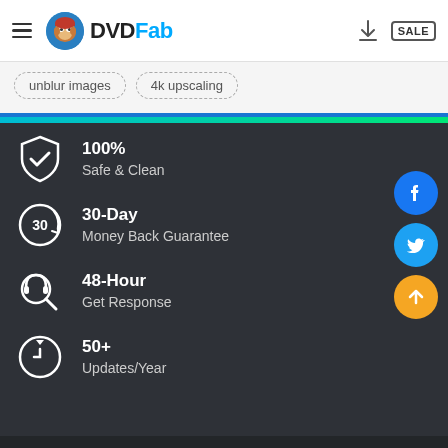[Figure (logo): DVDFab logo with monkey mascot and wordmark]
unblur images
4k upscaling
100%
Safe & Clean
30-Day
Money Back Guarantee
48-Hour
Get Response
50+
Updates/Year